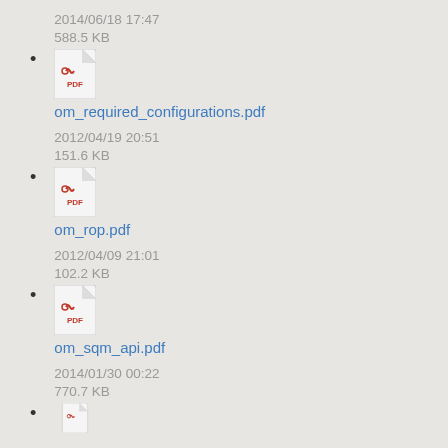2014/06/18 17:47
588.5 KB
om_required_configurations.pdf
2012/04/19 20:51
151.6 KB
om_rop.pdf
2012/04/09 21:01
102.2 KB
om_sqm_api.pdf
2014/01/30 00:22
770.7 KB